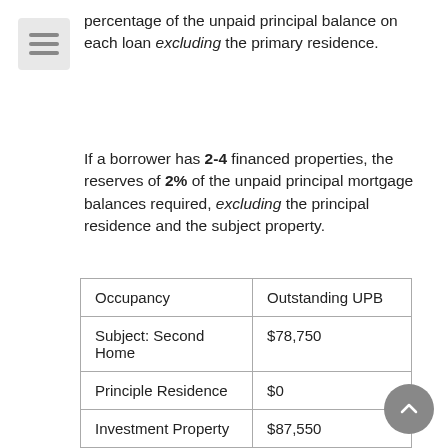percentage of the unpaid principal balance on each loan excluding the primary residence.
If a borrower has 2-4 financed properties, the reserves of 2% of the unpaid principal mortgage balances required, excluding the principal residence and the subject property.
| Occupancy | Outstanding UPB |
| --- | --- |
| Subject: Second Home | $78,750 |
| Principle Residence | $0 |
| Investment Property | $87,550 |